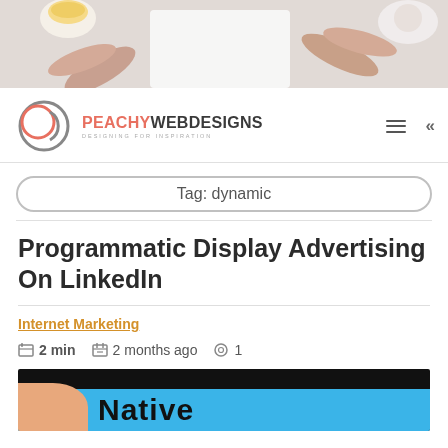[Figure (photo): Top hero photo showing hands on a desk with tea cup, notebook, and food items on a white marble surface]
PEACHY WEB DESIGNS — DESIGNING FOR INSPIRATION
Tag: dynamic
Programmatic Display Advertising On LinkedIn
Internet Marketing
2 min   2 months ago   1
[Figure (photo): Partial article thumbnail image showing dark background with blue and peach colored graphic with partial text 'Native']